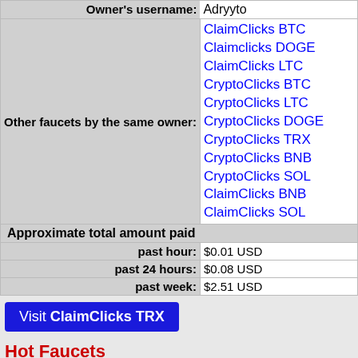| Label | Value |
| --- | --- |
| Owner's username: | Adryyto |
| Other faucets by the same owner: | ClaimClicks BTC
Claimclicks DOGE
ClaimClicks LTC
CryptoClicks BTC
CryptoClicks LTC
CryptoClicks DOGE
CryptoClicks TRX
CryptoClicks BNB
CryptoClicks SOL
ClaimClicks BNB
ClaimClicks SOL |
| Approximate total amount paid |  |
| past hour: | $0.01 USD |
| past 24 hours: | $0.08 USD |
| past week: | $2.51 USD |
Visit ClaimClicks TRX
Hot Faucets
Crypto faucets that are recently popular among the visitors of Faucet Monitor.
Claim 5412 solana every 1 min Claim SOL details